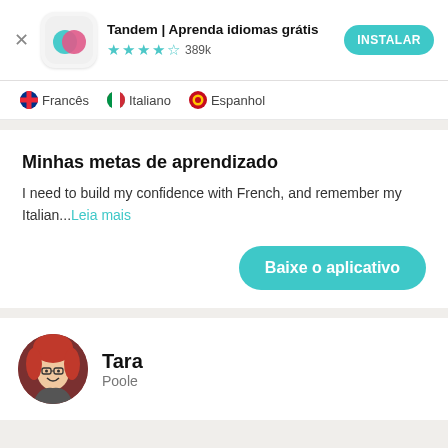[Figure (screenshot): Tandem app banner with app icon showing overlapping teal and pink speech bubbles on white rounded square background]
Tandem | Aprenda idiomas grátis
★★★★½ 389k
INSTALAR
🇫🇷 Francês  🇮🇹 Italiano  🇪🇸 Espanhol
Minhas metas de aprendizado
I need to build my confidence with French, and remember my Italian...Leia mais
Baixe o aplicativo
[Figure (photo): Circular avatar photo of a woman named Tara with red hair and glasses, smiling]
Tara
Poole